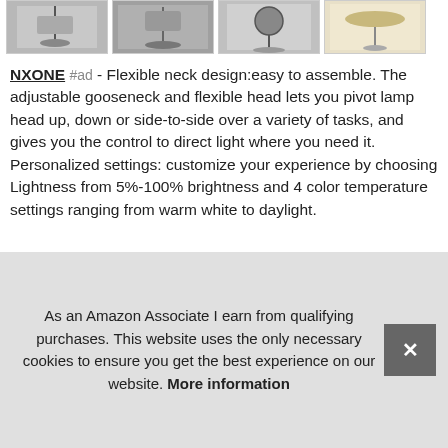[Figure (photo): Row of four product thumbnail images showing floor lamps in various settings]
NXONE #ad - Flexible neck design:easy to assemble. The adjustable gooseneck and flexible head lets you pivot lamp head up, down or side-to-side over a variety of tasks, and gives you the control to direct light where you need it. Personalized settings: customize your experience by choosing Lightness from 5%-100% brightness and 4 color temperature settings ranging from warm white to daylight.
The remote control has 3 customized model, you can set your brightness and color temperature. Safe structure and memory function: bigger and weighted base is sturdy and prevents the lam[p from tipping over, and the base is designed to keep pets...
As an Amazon Associate I earn from qualifying purchases. This website uses the only necessary cookies to ensure you get the best experience on our website. More information